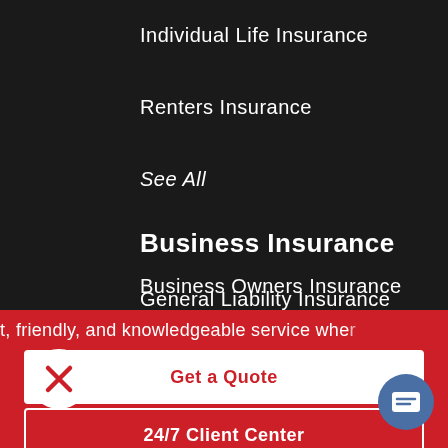Individual Life Insurance
Renters Insurance
See All
Business Insurance
Business Owners Insurance
General Liability Insurance
t, friendly, and knowledgeable service whe
Get a Quote
24/7 Client Center